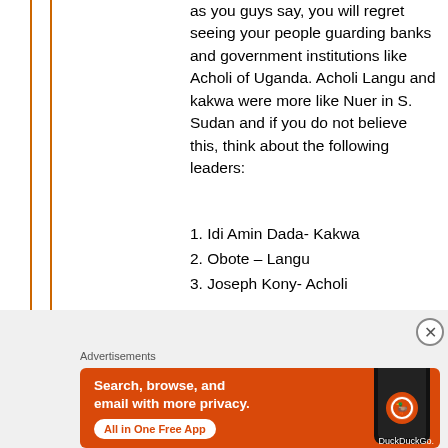as you guys say, you will regret seeing your people guarding banks and government institutions like Acholi of Uganda. Acholi Langu and kakwa were more like Nuer in S. Sudan and if you do not believe this, think about the following leaders:
1. Idi Amin Dada- Kakwa
2. Obote – Langu
3. Joseph Kony- Acholi
[Figure (infographic): DuckDuckGo advertisement banner with orange background, showing 'Search, browse, and email with more privacy. All in One Free App' text and a phone image with DuckDuckGo logo]